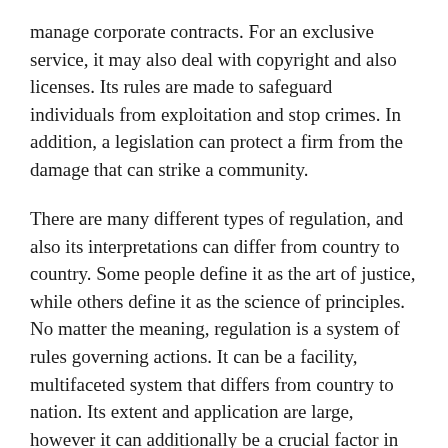manage corporate contracts. For an exclusive service, it may also deal with copyright and also licenses. Its rules are made to safeguard individuals from exploitation and stop crimes. In addition, a legislation can protect a firm from the damage that can strike a community.
There are many different types of regulation, and also its interpretations can differ from country to country. Some people define it as the art of justice, while others define it as the science of principles. No matter the meaning, regulation is a system of rules governing actions. It can be a facility, multifaceted system that differs from country to nation. Its extent and application are large, however it can additionally be a crucial factor in any type of business. “Click for source ”